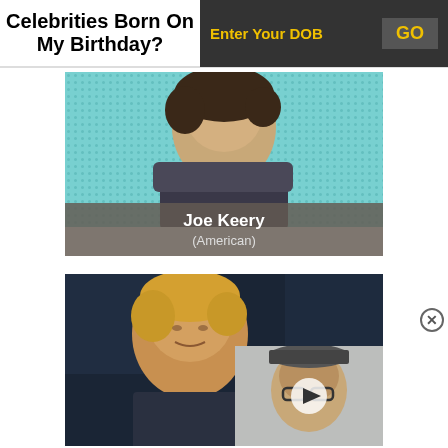Celebrities Born On My Birthday?
Enter Your DOB
GO
[Figure (photo): Photo of Joe Keery, young man with dark curly hair wearing a dark blazer, on a teal dotted background]
Joe Keery
(American)
[Figure (photo): Photo of a person with blonde hair in dark setting, with a video overlay thumbnail showing a man with glasses and a play button]